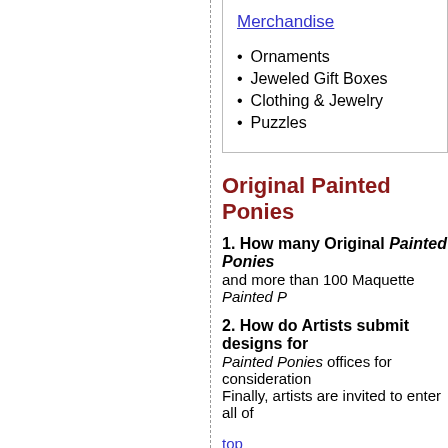Ornaments
Jeweled Gift Boxes
Clothing & Jewelry
Puzzles
Original Painted Ponies
1. How many Original Painted Ponies and more than 100 Maquette Painted P
2. How do Artists submit designs for Painted Ponies offices for consideration Finally, artists are invited to enter all of
top
Figurines
1. Do all the figurines begin as origin Yes. The Trail of Painted Ponies takes p the country and around the world. As op Trail of Painted Ponies figurines and me